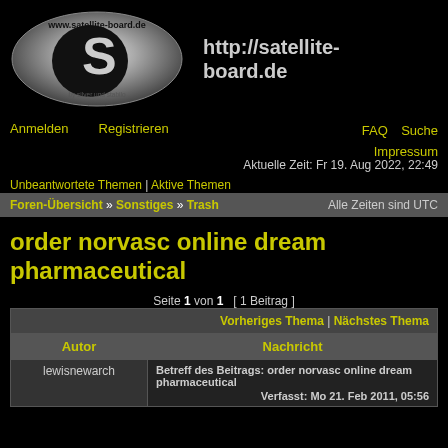[Figure (logo): satellite-board.de oval metallic logo with large S and text 'www.satellite-board.de' and 'by silver und stabilo']
http://satellite-board.de
Anmelden   Registrieren   FAQ   Suche   Impressum
Aktuelle Zeit: Fr 19. Aug 2022, 22:49
Unbeantwortete Themen | Aktive Themen
Foren-Übersicht » Sonstiges » Trash   Alle Zeiten sind UTC
order norvasc online dream pharmaceutical
Seite 1 von 1  [ 1 Beitrag ]
|  | Vorheriges Thema | Nächstes Thema |
| --- | --- |
| Autor | Nachricht |
| lewisnewarch | Betreff des Beitrags: order norvasc online dream pharmaceutical
Verfasst: Mo 21. Feb 2011, 05:56 |